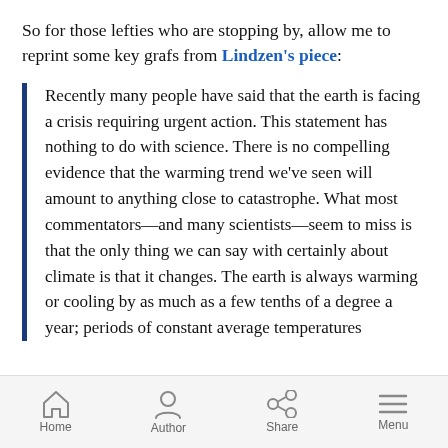So for those lefties who are stopping by, allow me to reprint some key grafs from Lindzen's piece:
Recently many people have said that the earth is facing a crisis requiring urgent action. This statement has nothing to do with science. There is no compelling evidence that the warming trend we've seen will amount to anything close to catastrophe. What most commentators—and many scientists—seem to miss is that the only thing we can say with certainly about climate is that it changes. The earth is always warming or cooling by as much as a few tenths of a degree a year; periods of constant average temperatures
Home  Author  Share  Menu